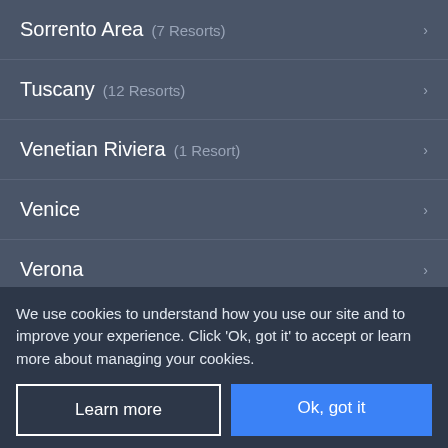Sorrento Area (7 Resorts)
Tuscany (12 Resorts)
Venetian Riviera (1 Resort)
Venice
Verona
Malta
Malta and Gozo (19 Resorts)
We use cookies to understand how you use our site and to improve your experience. Click 'Ok, got it' to accept or learn more about managing your cookies.
Learn more
Ok, got it